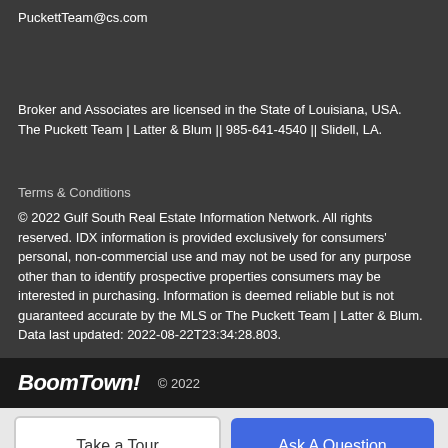PuckettTeam@cs.com
Broker and Associates are licensed in the State of Louisiana, USA. The Puckett Team | Latter & Blum || 985-641-4540 || Slidell, LA.
Terms & Conditions
© 2022 Gulf South Real Estate Information Network. All rights reserved. IDX information is provided exclusively for consumers' personal, non-commercial use and may not be used for any purpose other than to identify prospective properties consumers may be interested in purchasing. Information is deemed reliable but is not guaranteed accurate by the MLS or The Puckett Team | Latter & Blum. Data last updated: 2022-08-22T23:34:28.803.
BoomTown! © 2022
Take a Tour
Ask A Question